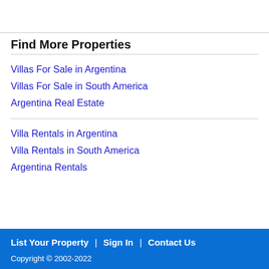Find More Properties
Villas For Sale in Argentina
Villas For Sale in South America
Argentina Real Estate
Villa Rentals in Argentina
Villa Rentals in South America
Argentina Rentals
List Your Property  |  Sign In  |  Contact Us
Copyright ©  2002-2022